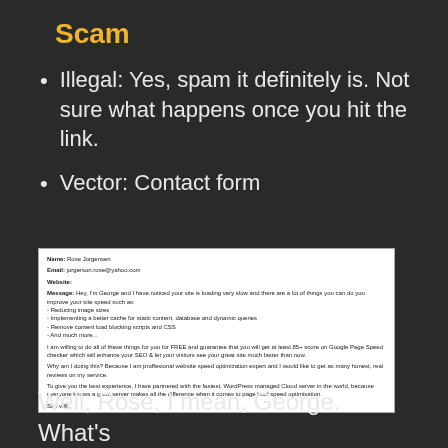Scam
Illegal: Yes, spam it definitely is. Not sure what happens once you hit the link.
Vector: Contact form
[Figure (screenshot): Screenshot of a contact form spam message from 'Rose Jorgensen' (jorgerson.rose@yahoo.com), actually from 'George', offering free website speed optimization services including reducing image sizes, implementing caching, and removing render-blocking scripts, with a link to https://l.bestsellers.to/ksph]
Well, Rose, I mean, George. What's